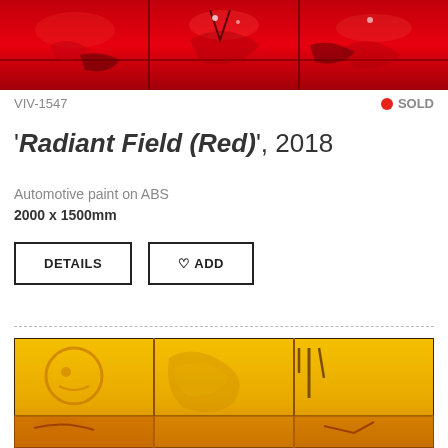[Figure (photo): Close-up photograph of red automotive paint on ABS plastic panels arranged in a grid, showing glossy red sculptural surface with dark crevices]
VIV-1547
● SOLD
'Radiant Field (Red)', 2018
Automotive paint on ABS
2000 x 1500mm
DETAILS
♡ ADD
[Figure (photo): Close-up photograph of yellow/orange automotive paint on ABS plastic panels arranged in a grid, showing glossy yellow sculptural surface with curved forms and shadows]